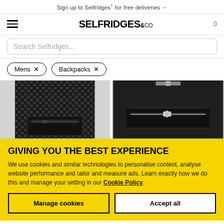Sign up to Selfridges+ for free deliveries →
[Figure (logo): Selfridges & Co logo with hamburger menu and cart icon showing 0]
Search Selfridges...
Mens ×   Backpacks ×
[Figure (photo): Two black leather backpacks side by side - left one has woven/intrecciato texture pattern, right one is pebbled leather with silver zipper]
GIVING YOU THE BEST EXPERIENCE
We use cookies and similar technologies to personalise content, analyse website performance and tailor and measure ads. Learn exactly how we do this and manage your setting in our Cookie Policy.
Manage cookies
Accept all